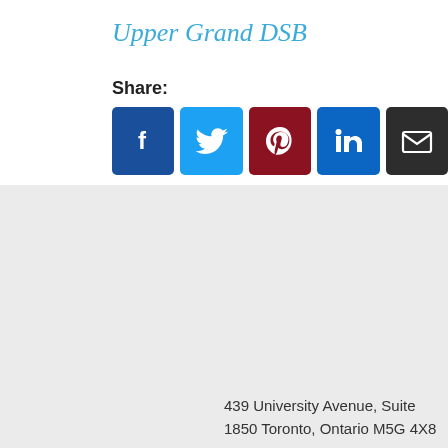Upper Grand DSB
Share:
[Figure (other): Social media share buttons: Facebook, Twitter, Pinterest, LinkedIn, Email]
439 University Avenue, Suite
1850 Toronto, Ontario M5G 4X8